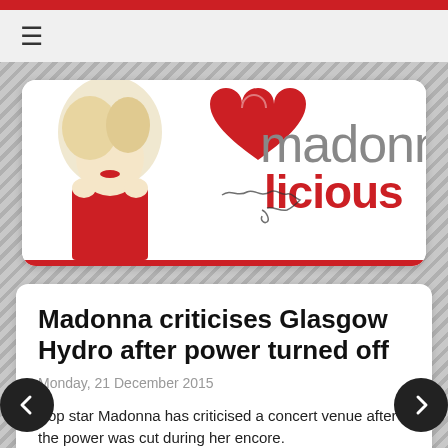[Figure (logo): Madonналicious fan site logo with Madonna photo and red heart graphic]
Madonna criticises Glasgow Hydro after power turned off
Monday, 21 December 2015
Pop star Madonna has criticised a concert venue after the power was cut during her encore.